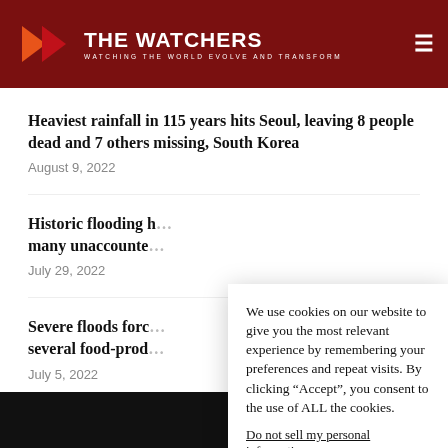THE WATCHERS — Watching the World Evolve and Transform
Heaviest rainfall in 115 years hits Seoul, leaving 8 people dead and 7 others missing, South Korea
August 9, 2022
Historic flooding h... many unaccounte...
July 29, 2022
Severe floods forc... several food-prod...
July 5, 2022
We use cookies on our website to give you the most relevant experience by remembering your preferences and repeat visits. By clicking “Accept”, you consent to the use of ALL the cookies.
Do not sell my personal information.